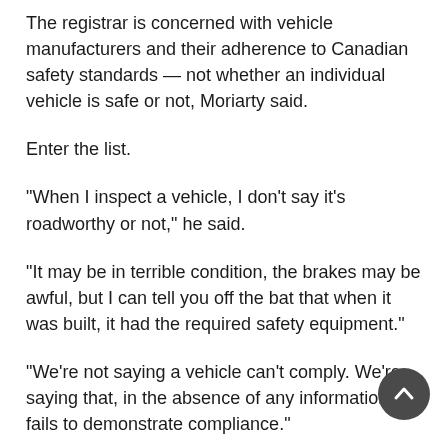The registrar is concerned with vehicle manufacturers and their adherence to Canadian safety standards — not whether an individual vehicle is safe or not, Moriarty said.
Enter the list.
“When I inspect a vehicle, I don’t say it’s roadworthy or not,” he said.
“It may be in terrible condition, the brakes may be awful, but I can tell you off the bat that when it was built, it had the required safety equipment.”
“We’re not saying a vehicle can’t comply. We’re saying that, in the absence of any information, it fails to demonstrate compliance.”